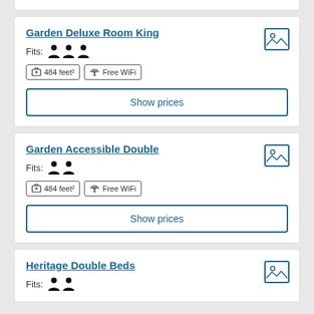Garden Deluxe Room King
Fits: 3 persons
484 feet² | Free WiFi
Show prices
Garden Accessible Double
Fits: 2 persons
484 feet² | Free WiFi
Show prices
Heritage Double Beds
Fits: